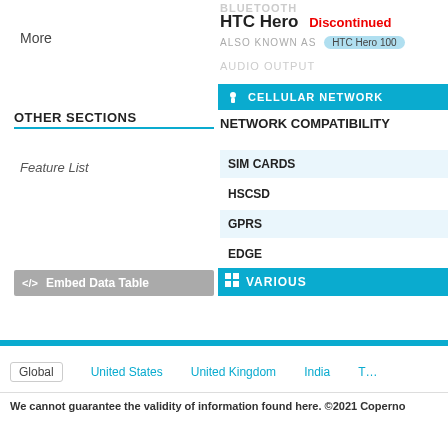BLUETOOTH
HTC Hero  Discontinued
ALSO KNOWN AS  HTC Hero 100
AUDIO OUTPUT
More
CELLULAR NETWORK
NETWORK COMPATIBILITY
OTHER SECTIONS
Feature List
SIM CARDS
HSCSD
GPRS
EDGE
VARIOUS
</> Embed Data Table
Global
United States
United Kingdom
India
T...
We cannot guarantee the validity of information found here. ©2021 Coperno